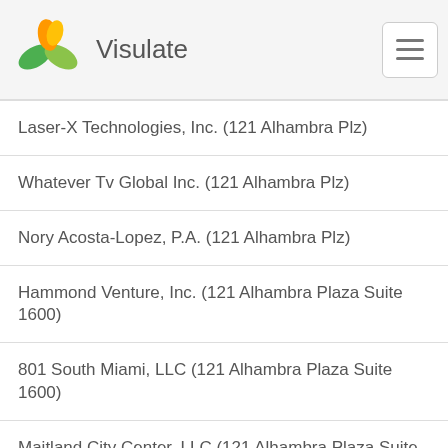Visulate
Laser-X Technologies, Inc. (121 Alhambra Plz)
Whatever Tv Global Inc. (121 Alhambra Plz)
Nory Acosta-Lopez, P.A. (121 Alhambra Plz)
Hammond Venture, Inc. (121 Alhambra Plaza Suite 1600)
801 South Miami, LLC (121 Alhambra Plaza Suite 1600)
Maitland City Center, LLC (121 Alhambra Plaza Suite 1600)
Cv Dam Ventures, LLC (121 Alhambra Plaza Suite 1600)
Smr Amres Georgia, LLC (121 Alhambra Plaza Suite 1600)
Smo Amres Georgia, LLC (121 Alhambra Plaza Suite 1600)
121 Alhambra Tower, LLC (121 Alhambra Plaza Suite 1600)